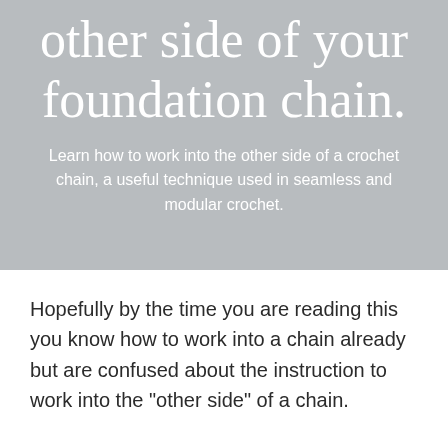other side of your foundation chain.
Learn how to work into the other side of a crochet chain, a useful technique used in seamless and modular crochet.
Hopefully by the time you are reading this you know how to work into a chain already but are confused about the instruction to work into the "other side" of a chain.